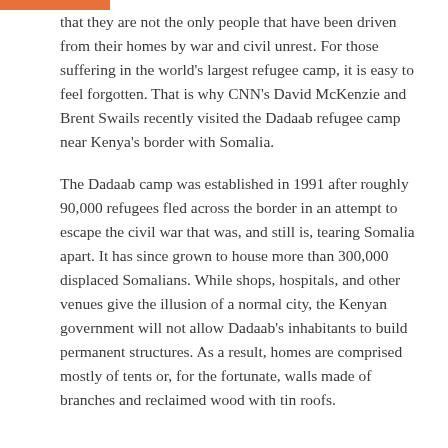that they are not the only people that have been driven from their homes by war and civil unrest. For those suffering in the world's largest refugee camp, it is easy to feel forgotten. That is why CNN's David McKenzie and Brent Swails recently visited the Dadaab refugee camp near Kenya's border with Somalia.
The Dadaab camp was established in 1991 after roughly 90,000 refugees fled across the border in an attempt to escape the civil war that was, and still is, tearing Somalia apart. It has since grown to house more than 300,000 displaced Somalians. While shops, hospitals, and other venues give the illusion of a normal city, the Kenyan government will not allow Dadaab's inhabitants to build permanent structures. As a result, homes are comprised mostly of tents or, for the fortunate, walls made of branches and reclaimed wood with tin roofs.